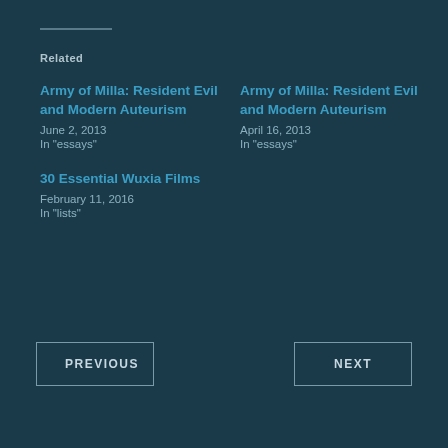Related
Army of Milla: Resident Evil and Modern Auteurism
June 2, 2013
In "essays"
Army of Milla: Resident Evil and Modern Auteurism
April 16, 2013
In "essays"
30 Essential Wuxia Films
February 11, 2016
In "lists"
PREVIOUS
NEXT